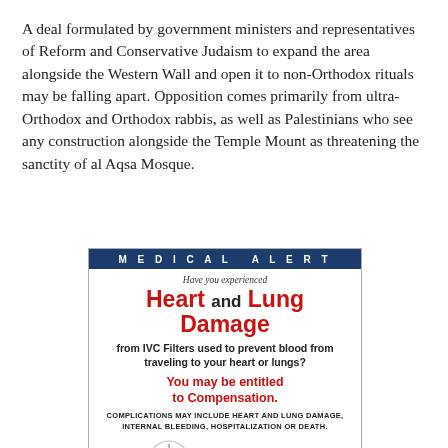A deal formulated by government ministers and representatives of Reform and Conservative Judaism to expand the area alongside the Western Wall and open it to non-Orthodox rituals may be falling apart. Opposition comes primarily from ultra-Orthodox and Orthodox rabbis, as well as Palestinians who see any construction alongside the Temple Mount as threatening the sanctity of al Aqsa Mosque.
[Figure (infographic): Medical Alert advertisement for IVC Filter legal cases. Header: MEDICAL ALERT. Subheading: Have you experienced. Main title: Heart and Lung Damage (in red). Body: from IVC Filters used to prevent blood from traveling to your heart or lungs? You may be entitled to Compensation. COMPLICATIONS MAY INCLUDE HEART AND LUNG DAMAGE, INTERNAL BLEEDING, HOSPITALIZATION OR DEATH. Call Now IVC Fone 321-274-1849. Footer: Legal help is available NOW! LegalHelpAdvocates.com]